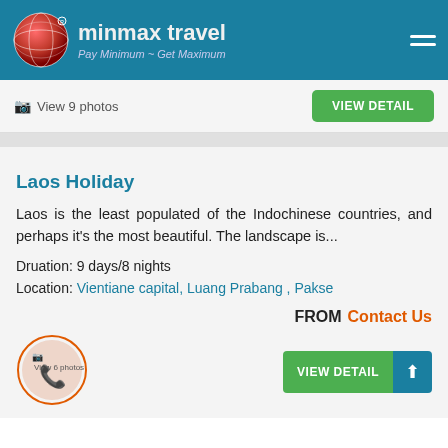minmax travel — Pay Minimum ~ Get Maximum
View 9 photos
VIEW DETAIL
Laos Holiday
Laos is the least populated of the Indochinese countries, and perhaps it's the most beautiful. The landscape is...
Druation: 9 days/8 nights
Location: Vientiane capital, Luang Prabang , Pakse
FROM Contact Us
View 6 photos
VIEW DETAIL